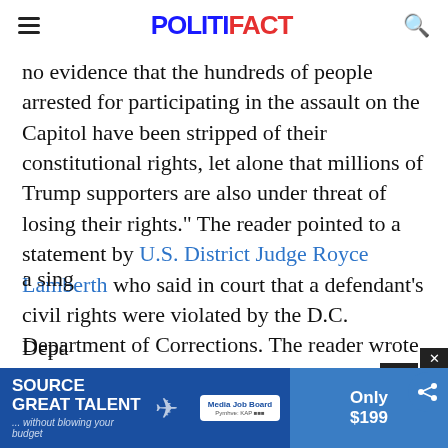POLITIFACT
no evidence that the hundreds of people arrested for participating in the assault on the Capitol have been stripped of their constitutional rights, let alone that millions of Trump supporters are also under threat of losing their rights." The reader pointed to a statement by U.S. District Judge Royce Lamberth who said in court that a defendant’s civil rights were violated by the D.C. Department of Corrections. The reader wrote that "although Lamberth's statement refers to a sing... Depa... il
[Figure (screenshot): Advertisement banner at bottom of page: blue background with 'SOURCE GREAT TALENT ... without blowing your budget' text and Media Job Board logo, with 'Only $199' offer on right side]